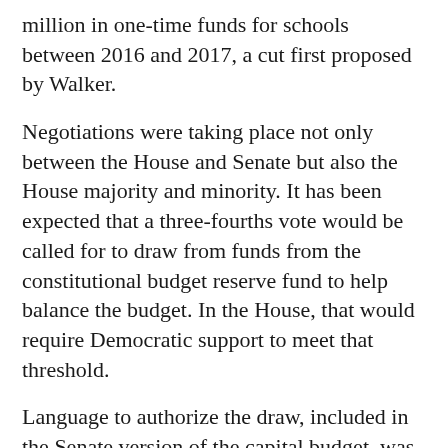million in one-time funds for schools between 2016 and 2017, a cut first proposed by Walker.
Negotiations were taking place not only between the House and Senate but also the House majority and minority. It has been expected that a three-fourths vote would be called for to draw from funds from the constitutional budget reserve fund to help balance the budget. In the House, that would require Democratic support to meet that threshold.
Language to authorize the draw, included in the Senate version of the capital budget, was removed from the House Finance version. It wasn't clear what any eventual language would look like.
Sunday had marked the scheduled end of a 90- session where the dominant issue has been the